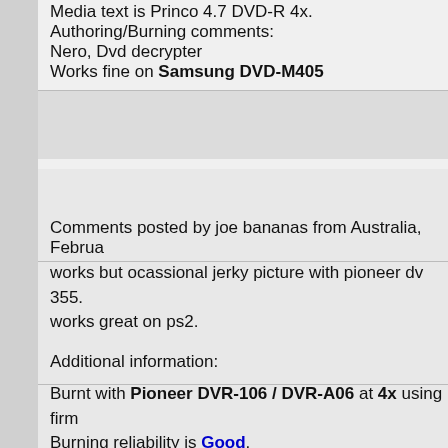Media text is Princo 4.7 DVD-R 4x.
Authoring/Burning comments:
Nero, Dvd decrypter
Works fine on Samsung DVD-M405
Comments posted by joe bananas from Australia, Februa...
works but ocassional jerky picture with pioneer dv 355. works great on ps2.
Additional information:
Burnt with Pioneer DVR-106 / DVR-A06 at 4x using firm...
Burning reliability is Good.
PC reliability is Good.
DVD reliability is Poor.
Console reliability is Good.
Media color is White.
Media text is nothing.